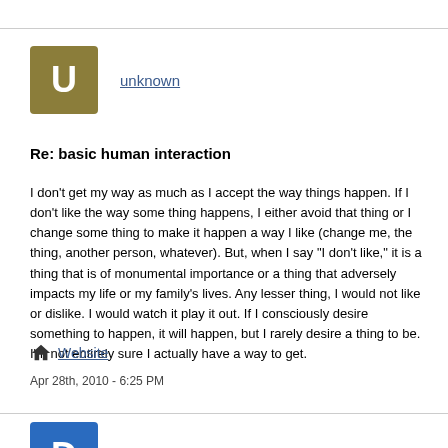[Figure (other): User avatar with letter U on olive/gold background for user 'unknown']
unknown
Re: basic human interaction
I don't get my way as much as I accept the way things happen. If I don't like the way some thing happens, I either avoid that thing or I change some thing to make it happen a way I like (change me, the thing, another person, whatever). But, when I say "I don't like," it is a thing that is of monumental importance or a thing that adversely impacts my life or my family's lives. Any lesser thing, I would not like or dislike. I would watch it play it out. If I consciously desire something to happen, it will happen, but I rarely desire a thing to be. I'm not entirely sure I actually have a way to get.
Website
Apr 28th, 2010 - 6:25 PM
[Figure (other): User avatar with letter D on blue background for user 'Dragontongue']
Dragontongue